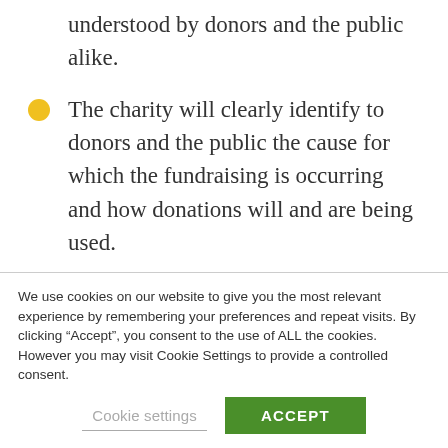understood by donors and the public alike.
The charity will clearly identify to donors and the public the cause for which the fundraising is occurring and how donations will and are being used.
The charity will provide ways whereby those interested can
We use cookies on our website to give you the most relevant experience by remembering your preferences and repeat visits. By clicking “Accept”, you consent to the use of ALL the cookies. However you may visit Cookie Settings to provide a controlled consent.
Cookie settings
ACCEPT